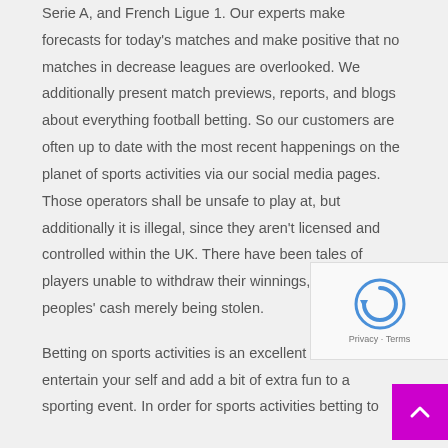Serie A, and French Ligue 1. Our experts make forecasts for today's matches and make positive that no matches in decrease leagues are overlooked. We additionally present match previews, reports, and blogs about everything football betting. So our customers are often up to date with the most recent happenings on the planet of sports activities via our social media pages. Those operators shall be unsafe to play at, but additionally it is illegal, since they aren't licensed and controlled within the UK. There have been tales of players unable to withdraw their winnings, or of peoples' cash merely being stolen.

Betting on sports activities is an excellent method to entertain your self and add a bit of extra fun to a sporting event. In order for sports activities betting to
[Figure (other): reCAPTCHA widget with circular arrow icon and Privacy · Terms links]
[Figure (other): Magenta/purple scroll-to-top button with upward chevron arrow]